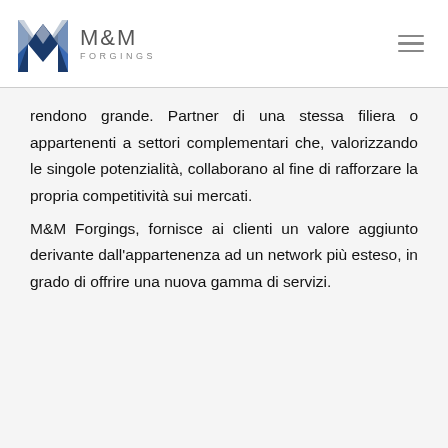[Figure (logo): M&M Forgings logo with stylized blue and silver M letter mark and company name text]
rendono grande. Partner di una stessa filiera o appartenenti a settori complementari che, valorizzando le singole potenzialità, collaborano al fine di rafforzare la propria competitività sui mercati.
M&M Forgings, fornisce ai clienti un valore aggiunto derivante dall'appartenenza ad un network più esteso, in grado di offrire una nuova gamma di servizi.